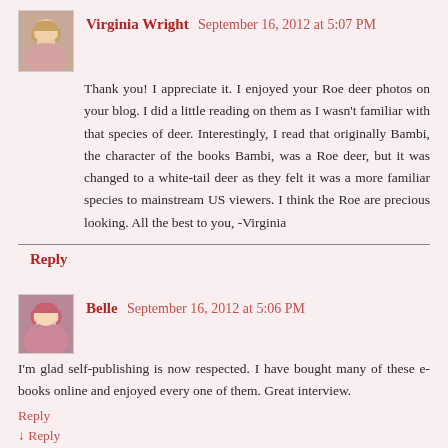[Figure (photo): Avatar photo of Virginia Wright, a woman with blonde hair]
Virginia Wright September 16, 2012 at 5:07 PM
Thank you! I appreciate it. I enjoyed your Roe deer photos on your blog. I did a little reading on them as I wasn't familiar with that species of deer. Interestingly, I read that originally Bambi, the character of the books Bambi, was a Roe deer, but it was changed to a white-tail deer as they felt it was a more familiar species to mainstream US viewers. I think the Roe are precious looking. All the best to you, -Virginia
Reply
[Figure (photo): Avatar photo of Belle, a woman with reddish hair]
Belle September 16, 2012 at 5:06 PM
I'm glad self-publishing is now respected. I have bought many of these e-books online and enjoyed every one of them. Great interview.
Reply